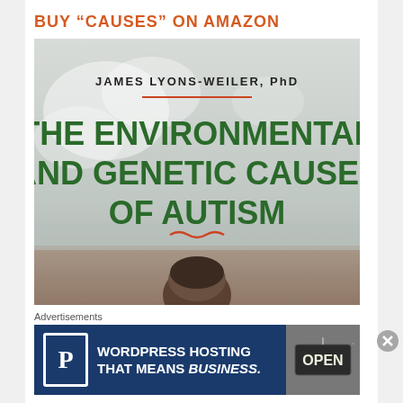BUY “CAUSES” ON AMAZON
[Figure (photo): Book cover of 'The Environmental and Genetic Causes of Autism' by James Lyons-Weiler, PhD. Shows green bold title text on a sky background with a child's head visible at the bottom.]
Advertisements
[Figure (other): Advertisement banner for WordPress Hosting that means business, with a Pressable 'P' logo on the left and an 'OPEN' sign photo on the right.]